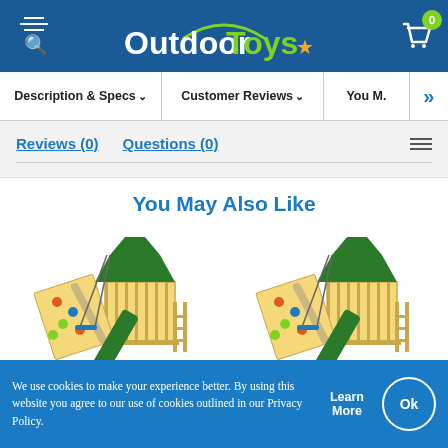OutdoorToys
Description & Specs ∨   Customer Reviews ∨   You M >>
Reviews (0)   Questions (0)
You May Also Like
[Figure (photo): Wooden climbing frame with green slide, rock wall, and swings - shown twice side by side]
We use cookies to make your experience better. By using this website you agree to our use of cookies outlined in our Privacy Policy.